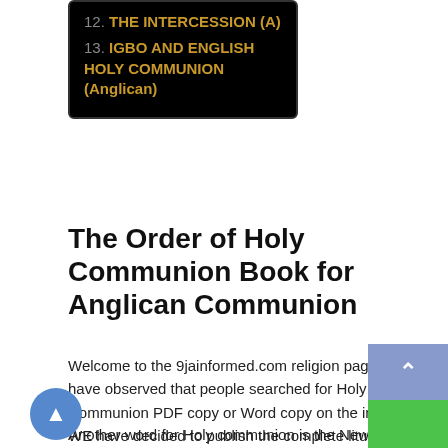12. THE INTERCESSION (A)
13. IGBO AND ENGLISH HOLY COMMUNION (Anglican)
The Order of Holy Communion Book for Anglican Communion
Welcome to the 9jainformed.com religion page. We have observed that people searched for Holy Communion PDF copy or Word copy on the internet. WE have decided to publish the complete liturgy here. The order of Holy Communion for Anglican Communion.
Another word for Holy communion is the New liturgy of the Holy Eucharist. It also means the Lord's supper or the